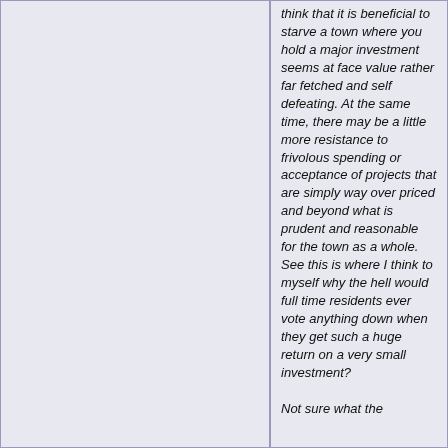think that it is beneficial to starve a town where you hold a major investment seems at face value rather far fetched and self defeating. At the same time, there may be a little more resistance to frivolous spending or acceptance of projects that are simply way over priced and beyond what is prudent and reasonable for the town as a whole. See this is where I think to myself why the hell would full time residents ever vote anything down when they get such a huge return on a very small investment?

Not sure what the